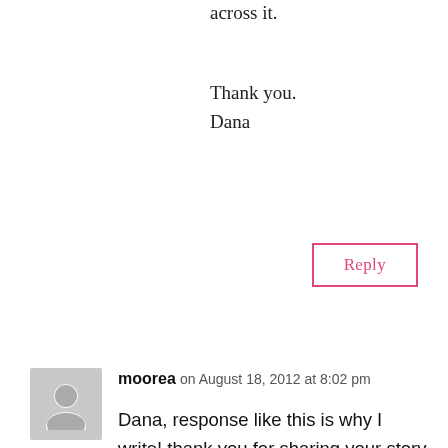across it.
Thank you.
Dana
Reply
moorea on August 18, 2012 at 8:02 pm
Dana, response like this is why I write! thank you for sharing your story and your kind words. I can't imagine having a second one while the first still isn't sleeping. Strength be with you! -